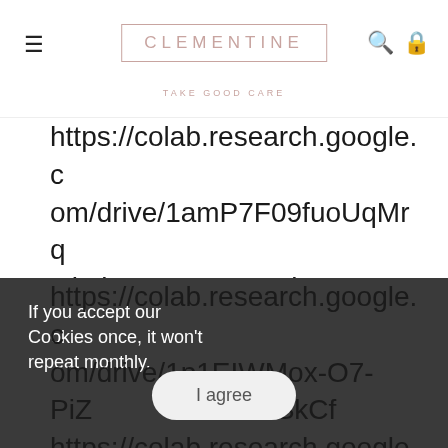CLEMENTINE — TAKE GOOD CARE
https://colab.research.google.com/drive/1amP7F09fuoUqMrqGkgbqLGQBw097xkLU https://colab.research.google.com/drive/1T_lIHq7-CyrNNkGsKSkRuWBu0n4LF3Sl https://colab.research.google.com/drive/1Uaqs2nS4_0QhIjfw67_PWhuGwgAQNPDX https://colab.research.google.com/drive/1sfhldZSrHx8TYOZj2hj https://colab.research.google.com/drive/1p1EIWMox-O7-PiZ...w4e5uSkCf https://colab.research.google.c
If you accept our Cookies once, it won't repeat monthly.
I agree